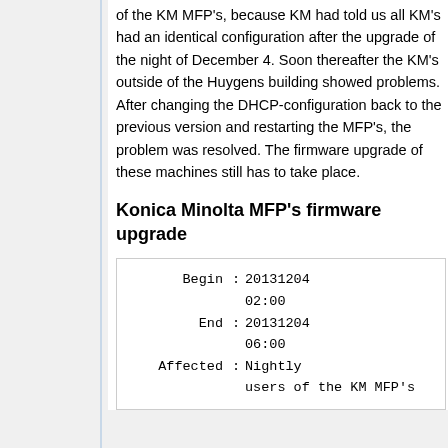of the KM MFP's, because KM had told us all KM's had an identical configuration after the upgrade of the night of December 4. Soon thereafter the KM's outside of the Huygens building showed problems. After changing the DHCP-configuration back to the previous version and restarting the MFP's, the problem was resolved. The firmware upgrade of these machines still has to take place.
Konica Minolta MFP's firmware upgrade
| Begin | : | 20131204 02:00 |
| End | : | 20131204 06:00 |
| Affected | : | Nightly users of the KM MFP's |